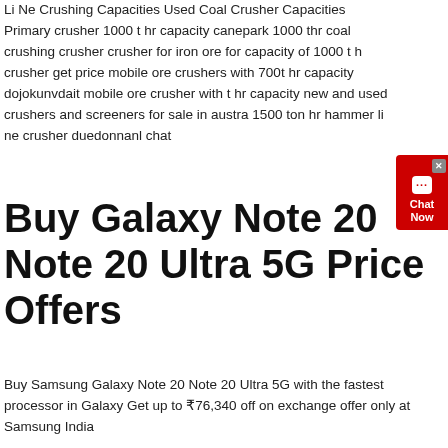Li Ne Crushing Capacities Used Coal Crusher Capacities Primary crusher 1000 t hr capacity canepark 1000 thr coal crushing crusher crusher for iron ore for capacity of 1000 t h crusher get price mobile ore crushers with 700t hr capacity dojokunvdait mobile ore crusher with t hr capacity new and used crushers and screeners for sale in austra 1500 ton hr hammer li ne crusher duedonnanl chat
Buy Galaxy Note 20 Note 20 Ultra 5G Price Offers
Buy Samsung Galaxy Note 20 Note 20 Ultra 5G with the fastest processor in Galaxy Get up to ₹76,340 off on exchange offer only at Samsung India